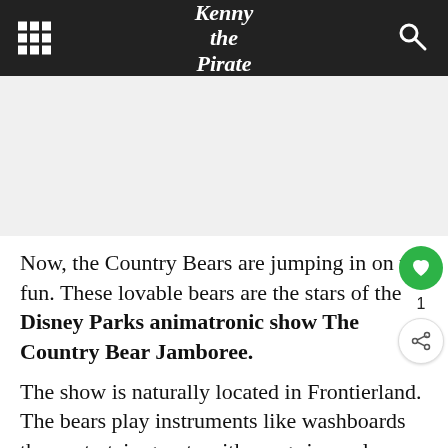Kenny the Pirate
[Figure (other): Advertisement/image placeholder area, light gray background]
Now, the Country Bears are jumping in on the fun. These lovable bears are the stars of the Disney Parks animatronic show The Country Bear Jamboree.
The show is naturally located in Frontierland. The bears play instruments like washboards they entertain guests with songs in a saloon style